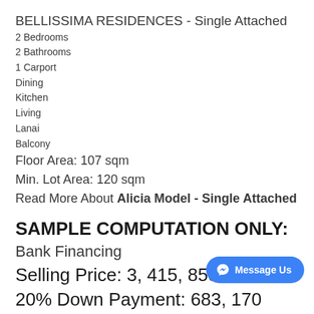BELLISSIMA RESIDENCES - Single Attached
2 Bedrooms
2 Bathrooms
1 Carport
Dining
Kitchen
Living
Lanai
Balcony
Floor Area: 107 sqm
Min. Lot Area: 120 sqm
Read More About Alicia Model - Single Attached
SAMPLE COMPUTATION ONLY:
Bank Financing
Selling Price: 3, 415, 850
20% Down Payment: 683, 170
Loan Reservation Fee: 30, 000